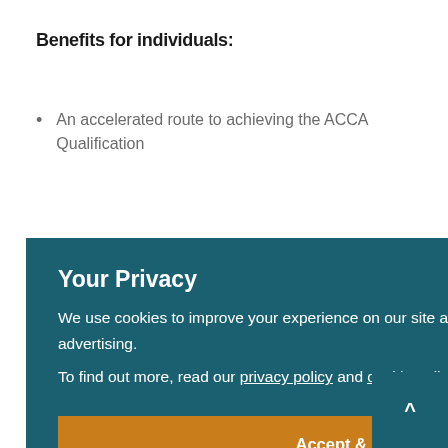Benefits for individuals:
An accelerated route to achieving the ACCA Qualification
Your Privacy
We use cookies to improve your experience on our site and to show you relevant advertising.
To find out more, read our privacy policy and cookie policy.
Accept & Close